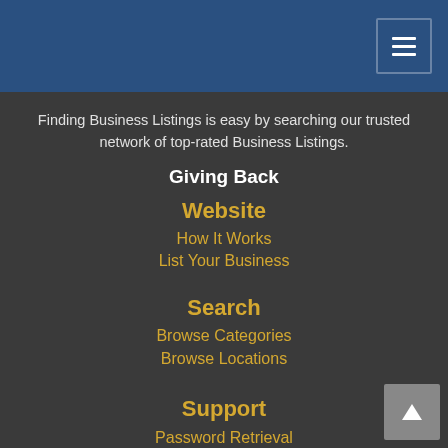Finding Business Listings is easy by searching our trusted network of top-rated Business Listings.
Giving Back
Website
How It Works
List Your Business
Search
Browse Categories
Browse Locations
Support
Password Retrieval